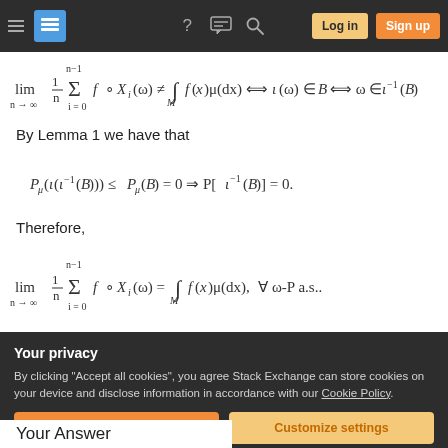Navigation bar with hamburger, logo, help, chat, search icons, Log in and Sign up buttons
By Lemma 1 we have that
Therefore,
Your privacy
By clicking "Accept all cookies", you agree Stack Exchange can store cookies on your device and disclose information in accordance with our Cookie Policy.
Your Answer